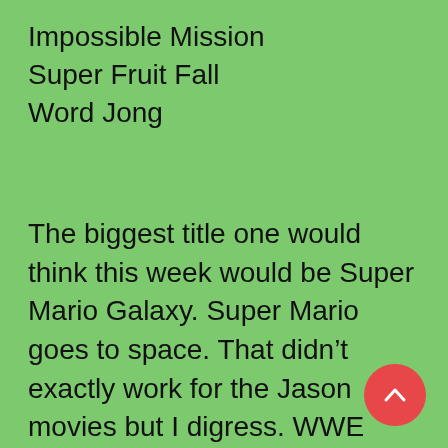Impossible Mission
Super Fruit Fall
Word Jong
The biggest title one would think this week would be Super Mario Galaxy. Super Mario goes to space. That didn't exactly work for the Jason movies but I digress. WWE Smackdown vs Raw comes in with another installment of what is sure to be great wrestling action. Sadly as most of you know I'm still playing the previous installment. Maybe I'll put this on a christmas list. Two other